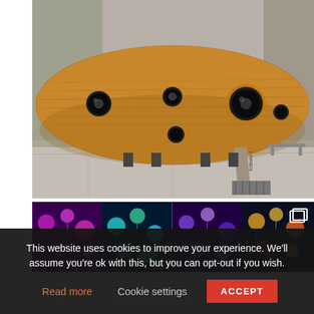[Figure (photo): A large wooden submarine-shaped sculpture resting on a paved outdoor area. The wooden structure is oval/fish-shaped with circular porthole windows and a small fin at the bottom. A label reading 'Ictineo I' is visible on the side. A bench and some netting are visible in the background.]
[Figure (photo): A collage or gallery image showing colorful illuminated jellyfish-like decorations or art installations in purple, teal, yellow, and orange/red tones against dark backgrounds. A gallery/slideshow icon appears in the top-right corner of this image strip.]
This website uses cookies to improve your experience. We'll assume you're ok with this, but you can opt-out if you wish.
Read more   Cookie settings   ACCEPT